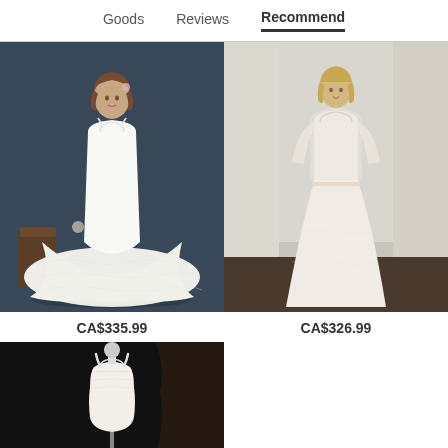Goods   Reviews   Recommend
[Figure (photo): Woman wearing a white ball gown wedding dress with tulle skirt against a dark blue background]
CA$335.99
[Figure (photo): Woman wearing a romantic A-line wedding dress with sheer sleeves standing near curtains]
CA$326.99
[Figure (photo): White wedding dress displayed on a mannequin against a dark/black background]